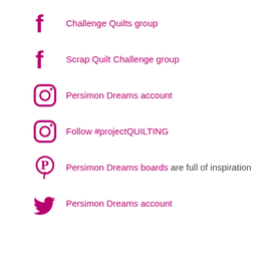Challenge Quilts group
Scrap Quilt Challenge group
Persimon Dreams account
Follow #projectQUILTING
Persimon Dreams boards are full of inspiration
Persimon Dreams account